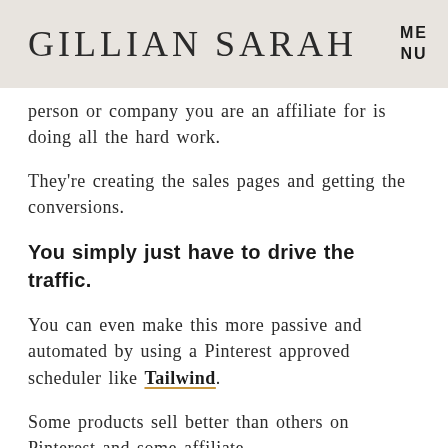GILLIAN SARAH   MENU
person or company you are an affiliate for is doing all the hard work.
They're creating the sales pages and getting the conversions.
You simply just have to drive the traffic.
You can even make this more passive and automated by using a Pinterest approved scheduler like Tailwind.
Some products sell better than others on Pinterest and some affiliate